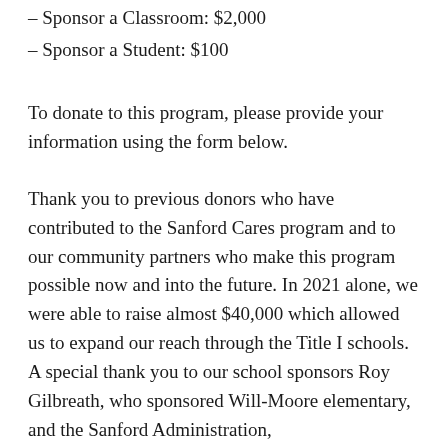– Sponsor a Classroom: $2,000
– Sponsor a Student: $100
To donate to this program, please provide your information using the form below.
Thank you to previous donors who have contributed to the Sanford Cares program and to our community partners who make this program possible now and into the future. In 2021 alone, we were able to raise almost $40,000 which allowed us to expand our reach through the Title I schools. A special thank you to our school sponsors Roy Gilbreath, who sponsored Will-Moore elementary, and the Sanford Administration,